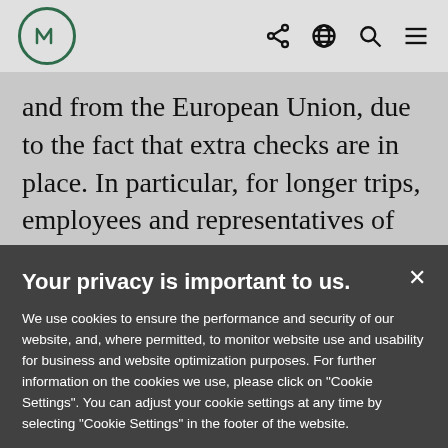M [logo] [share icon] [globe icon] [search icon] [menu icon]
and from the European Union, due to the fact that extra checks are in place. In particular, for longer trips, employees and representatives of the charity will no longer have an automatic right to stay and work indefinitely as UK citizens. Organisations will
Your privacy is important to us.
We use cookies to ensure the performance and security of our website, and, where permitted, to monitor website use and usability for business and website optimization purposes. For further information on the cookies we use, please click on "Cookie Settings". You can adjust your cookie settings at any time by selecting "Cookie Settings" in the footer of the website.
Cookie Settings | Accept All Cookies